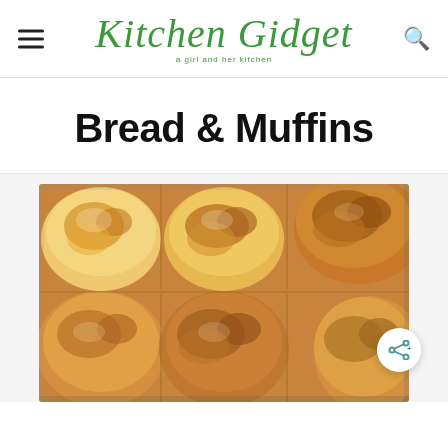Kitchen Gidget — a girl and her kitchen
Bread & Muffins
[Figure (photo): Close-up photo of golden-brown dinner rolls arranged in a baking pan, showing soft, pillowy tops with a glossy sheen]